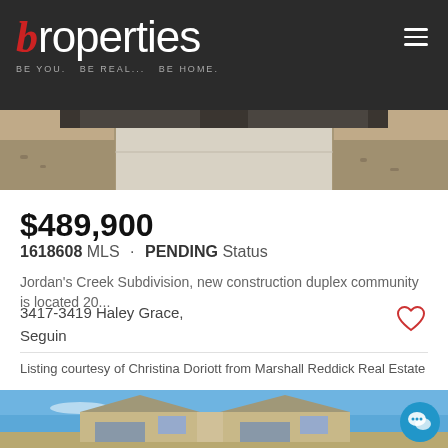b properties — BE YOU. BE REAL... BE HOME.
[Figure (photo): Exterior driveway/garage view of new construction duplex, concrete driveway with gravel landscaping visible]
$489,900
1618608 MLS · PENDING Status
Jordan's Creek Subdivision, new construction duplex community is located 20...
3417-3419 Haley Grace, Seguin
Listing courtesy of Christina Doriott from Marshall Reddick Real Estate
[Figure (photo): Front exterior photo of new construction duplex home with tan stucco finish and blue sky background]